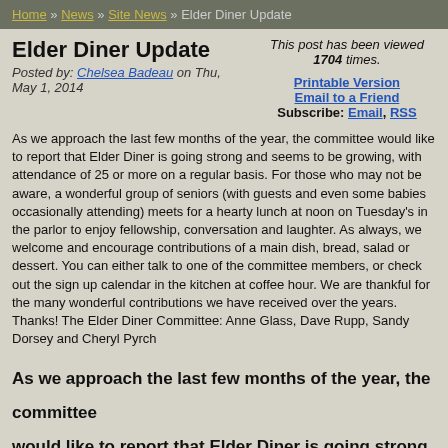Home » News » Site News » Elder Diner Update
Elder Diner Update
Posted by: Chelsea Badeau on Thu, May 1, 2014
This post has been viewed 1704 times.
Printable Version
Email to a Friend
Subscribe: Email, RSS
As we approach the last few months of the year, the committee would like to report that Elder Diner is going strong and seems to be growing, with attendance of 25 or more on a regular basis. For those who may not be aware, a wonderful group of seniors (with guests and even some babies occasionally attending) meets for a hearty lunch at noon on Tuesday's in the parlor to enjoy fellowship, conversation and laughter. As always, we welcome and encourage contributions of a main dish, bread, salad or dessert. You can either talk to one of the committee members, or check out the sign up calendar in the kitchen at coffee hour. We are thankful for the many wonderful contributions we have received over the years. Thanks! The Elder Diner Committee: Anne Glass, Dave Rupp, Sandy Dorsey and Cheryl Pyrch
As we approach the last few months of the year, the committee would like to report that Elder Diner is going strong and seems to be growing, with attendance of 25 or more on a regular basis. For those who may not be aware, a wonderful group of seniors (with guests and even some babies occasionally attending) meets for a hearty lunch at noon on Tuesday's in the parlor to enjoy fellowship,